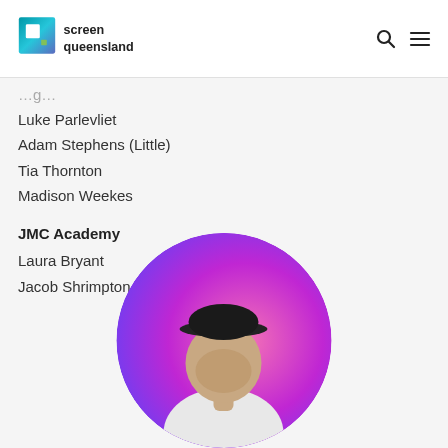Screen Queensland
Luke Parlevliet
Adam Stephens (Little)
Tia Thornton
Madison Weekes
JMC Academy
Laura Bryant
Jacob Shrimpton (Shrimpy)
[Figure (photo): Circular profile photo of a young man wearing a cap and white t-shirt, with a purple-to-pink gradient background]